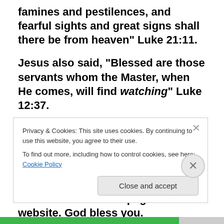famines and pestilences, and fearful sights and great signs shall there be from heaven” Luke 21:11.
Jesus also said, “Blessed are those servants whom the Master, when He comes, will find watching” Luke 12:37.
Hundreds of Bible prophecies have been fulfilled and those remaining will also come to pass. Please don’t neglect your eternal soul. If you aren’t saved, I invite you to visit the How Can I Be Saved page of this website.  God bless you.
Privacy & Cookies: This site uses cookies. By continuing to use this website, you agree to their use.
To find out more, including how to control cookies, see here: Cookie Policy